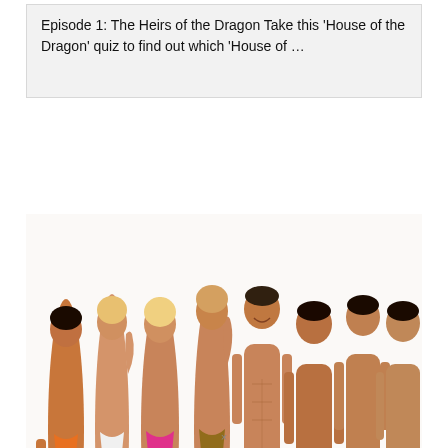Episode 1: The Heirs of the Dragon Take this 'House of the Dragon' quiz to find out which 'House of …
[Figure (photo): Group photo of eight young people in swimwear posed against a white background — four women on the left wearing bikinis in orange, white, pink, and animal print, and four men on the right shirtless in colored swim shorts]
Read more...